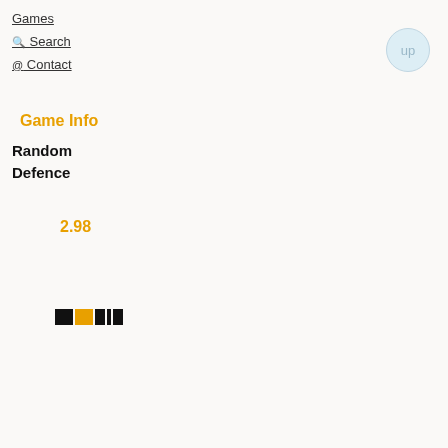Games
🔍 Search
@ Contact
Game Info
Random Defence
2.98
[Figure (infographic): A small rating bar graphic showing partial fill — black and yellow/orange rectangular segments representing a star or bar rating for the game.]